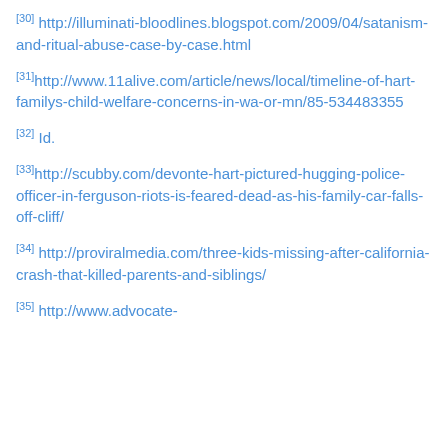[30] http://illuminati-bloodlines.blogspot.com/2009/04/satanism-and-ritual-abuse-case-by-case.html
[31]http://www.11alive.com/article/news/local/timeline-of-hart-familys-child-welfare-concerns-in-wa-or-mn/85-534483355
[32] Id.
[33]http://scubby.com/devonte-hart-pictured-hugging-police-officer-in-ferguson-riots-is-feared-dead-as-his-family-car-falls-off-cliff/
[34] http://proviralmedia.com/three-kids-missing-after-california-crash-that-killed-parents-and-siblings/
[35] http://www.advocate-